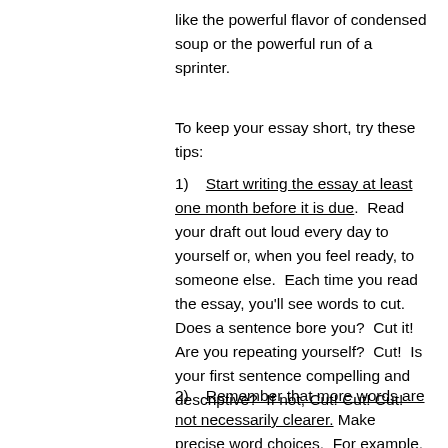like the powerful flavor of condensed soup or the powerful run of a sprinter.
To keep your essay short, try these tips:
1)   Start writing the essay at least one month before it is due.  Read your draft out loud every day to yourself or, when you feel ready, to someone else.  Each time you read the essay, you'll see words to cut.  Does a sentence bore you?  Cut it!  Are you repeating yourself?  Cut!  Is your first sentence compelling and descriptive?  If not, Cut! Cut! Cut!
2)   Remember that more words are not necessarily clearer. Make precise word choices.  For example, substitute “remove”